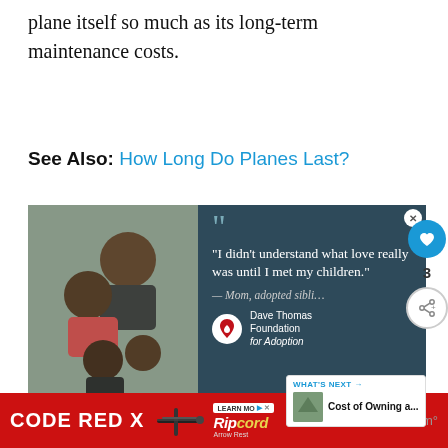plane itself so much as its long-term maintenance costs.
See Also: How Long Do Planes Last?
[Figure (photo): Advertisement showing a family photo on the left and a quote on the right on dark teal background: 'I didn't understand what love really was until I met my children.' — Mom, adopted siblings. Dave Thomas Foundation for Adoption logo.]
[Figure (photo): Bottom advertisement banner: CODE RED X with crossbow image and Ripcord Arrow Rest branding in red background.]